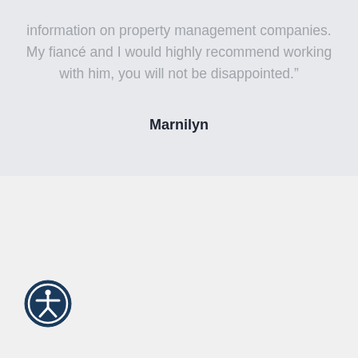information on property management companies. My fiancé and I would highly recommend working with him, you will not be disappointed."
Marnilyn
[Figure (illustration): Accessibility icon — circular dark navy blue button with a white human figure (stick figure with arms outstretched) in the center, representing a web accessibility control.]